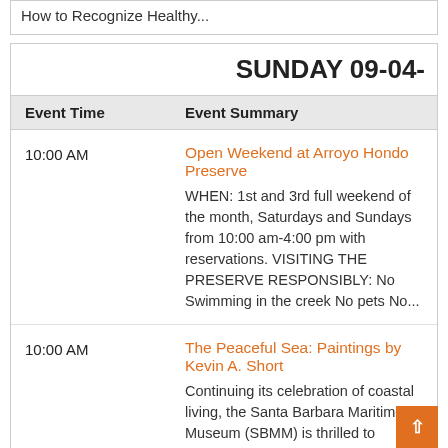How to Recognize Healthy...
SUNDAY 09-04-
| Event Time | Event Summary |
| --- | --- |
| 10:00 AM | Open Weekend at Arroyo Hondo Preserve
WHEN: 1st and 3rd full weekend of the month, Saturdays and Sundays from 10:00 am-4:00 pm with reservations. VISITING THE PRESERVE RESPONSIBLY: No Swimming in the creek No pets No... |
| 10:00 AM | The Peaceful Sea: Paintings by Kevin A. Short
Continuing its celebration of coastal living, the Santa Barbara Maritime Museum (SBMM) is thrilled to present The Peaceful Sea: Paintings by Kevin A. |